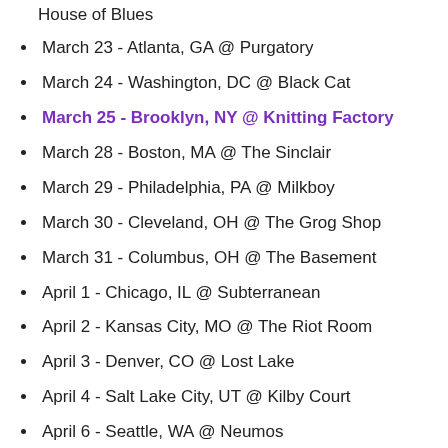House of Blues
March 23 - Atlanta, GA @ Purgatory
March 24 - Washington, DC @ Black Cat
March 25 - Brooklyn, NY @ Knitting Factory
March 28 - Boston, MA @ The Sinclair
March 29 - Philadelphia, PA @ Milkboy
March 30 - Cleveland, OH @ The Grog Shop
March 31 - Columbus, OH @ The Basement
April 1 - Chicago, IL @ Subterranean
April 2 - Kansas City, MO @ The Riot Room
April 3 - Denver, CO @ Lost Lake
April 4 - Salt Lake City, UT @ Kilby Court
April 6 - Seattle, WA @ Neumos
April 7 - Portland, OR @Holocene